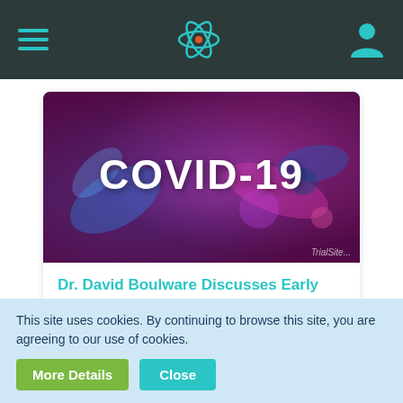Navigation bar with hamburger menu, atom icon, and user icon
[Figure (photo): COVID-19 banner image with colorful abstract biology/virus imagery and bold white text 'COVID-19'. TrialSite watermark visible at bottom right.]
Dr. David Boulware Discusses Early Treatment Trial for COVID-19
Dr. Boulware is an infectious disease expert and researcher at the University of Minnesota. He is one of the lead investigators of the COVID-OUT clinical trial...
rumble.com
Call to Action: For those individuals who become infected with SARS-CoV-2, the virus behind COVID-19, and seek an
This site uses cookies. By continuing to browse this site, you are agreeing to our use of cookies.